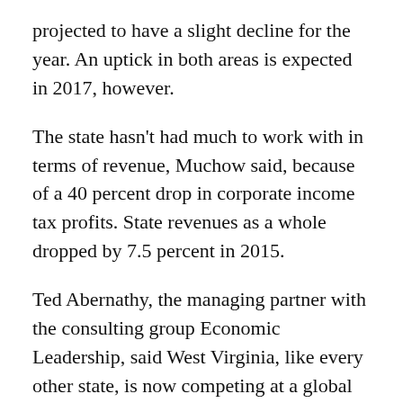projected to have a slight decline for the year. An uptick in both areas is expected in 2017, however.
The state hasn't had much to work with in terms of revenue, Muchow said, because of a 40 percent drop in corporate income tax profits. State revenues as a whole dropped by 7.5 percent in 2015.
Ted Abernathy, the managing partner with the consulting group Economic Leadership, said West Virginia, like every other state, is now competing at a global level, so it must find ways to bring business and entrepreneurial talent in to get the state back on track.
“If you’re a small city like Charleston, you’re going to have less ammunition to fight with to attract labor,” he said. “And so there’s really no… I don’t know how to